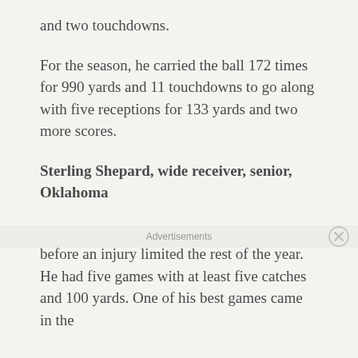and two touchdowns.
For the season, he carried the ball 172 times for 990 yards and 11 touchdowns to go along with five receptions for 133 yards and two more scores.
Sterling Shepard, wide receiver, senior, Oklahoma
Shepard was in the middle of a huge season before an injury limited the rest of the year. He had five games with at least five catches and 100 yards. One of his best games came in the
Advertisements